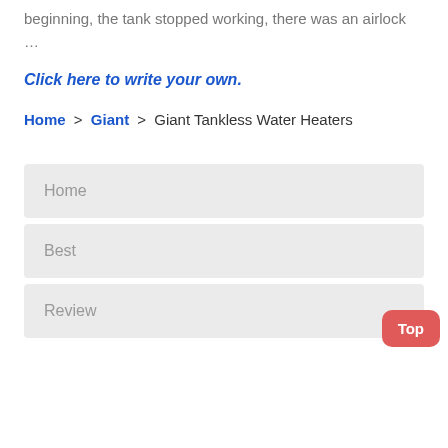beginning, the tank stopped working, there was an airlock …
Click here to write your own.
Home > Giant > Giant Tankless Water Heaters
Home
Best
Review